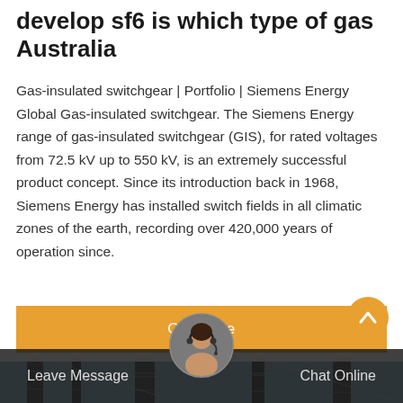develop sf6 is which type of gas Australia
Gas-insulated switchgear | Portfolio | Siemens Energy Global Gas-insulated switchgear. The Siemens Energy range of gas-insulated switchgear (GIS), for rated voltages from 72.5 kV up to 550 kV, is an extremely successful product concept. Since its introduction back in 1968, Siemens Energy has installed switch fields in all climatic zones of the earth, recording over 420,000 years of operation since.
[Figure (other): Orange 'Get Price' button]
[Figure (photo): Electrical substation with high-voltage transmission towers and insulators against a blue sky]
Leave Message   Chat Online